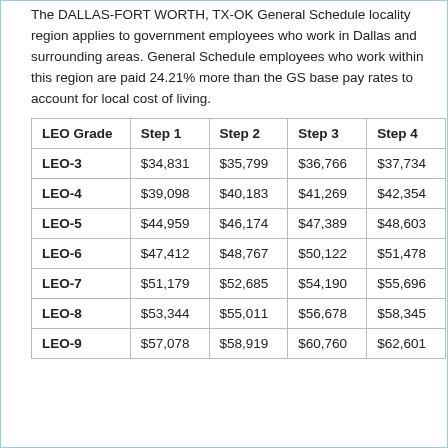The DALLAS-FORT WORTH, TX-OK General Schedule locality region applies to government employees who work in Dallas and surrounding areas. General Schedule employees who work within this region are paid 24.21% more than the GS base pay rates to account for local cost of living.
| LEO Grade | Step 1 | Step 2 | Step 3 | Step 4 |
| --- | --- | --- | --- | --- |
| LEO-3 | $34,831 | $35,799 | $36,766 | $37,734 |
| LEO-4 | $39,098 | $40,183 | $41,269 | $42,354 |
| LEO-5 | $44,959 | $46,174 | $47,389 | $48,603 |
| LEO-6 | $47,412 | $48,767 | $50,122 | $51,478 |
| LEO-7 | $51,179 | $52,685 | $54,190 | $55,696 |
| LEO-8 | $53,344 | $55,011 | $56,678 | $58,345 |
| LEO-9 | $57,078 | $58,919 | $60,760 | $62,601 |